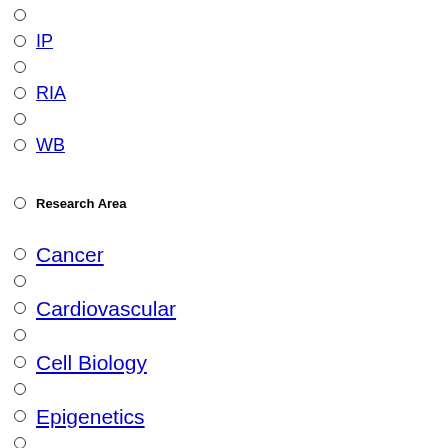IP
RIA
WB
Research Area
Cancer
Cardiovascular
Cell Biology
Epigenetics
Immunology
Metabolism
Microbiology
Neuroscience